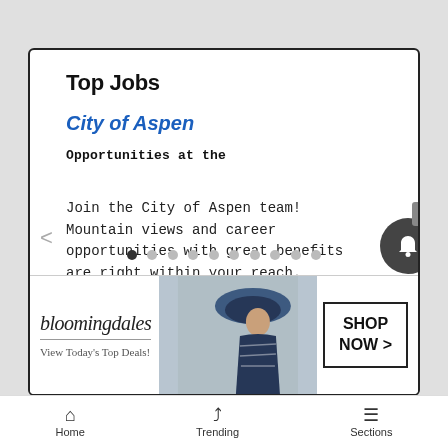Top Jobs
City of Aspen
Opportunities at the
Join the City of Aspen team! Mountain views and career opportunities with great benefits are right within your reach. Apply...
[Figure (screenshot): Bloomingdale's advertisement banner with logo, tagline 'View Today's Top Deals!', model image, and 'SHOP NOW >' button]
Home   Trending   Sections